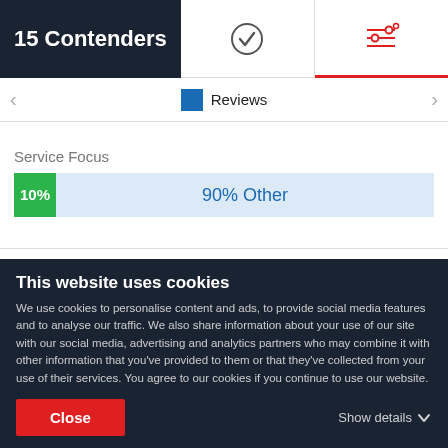15 Contenders
[Figure (screenshot): Navigation tabs with checkmark icon and filter/settings icon with red underline on active tab]
Reviews
Service Focus
[Figure (stacked-bar-chart): Service Focus]
Digital Marketing
This website uses cookies
We use cookies to personalise content and ads, to provide social media features and to analyse our traffic. We also share information about your use of our site with our social media, advertising and analytics partners who may combine it with other information that you've provided to them or that they've collected from your use of their services. You agree to our cookies if you continue to use our website.
Close
Show details